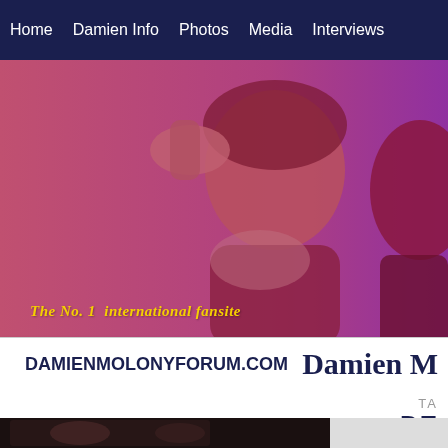Home | Damien Info | Photos | Media | Interviews
[Figure (photo): Hero banner image of Damien Molony with pink/red color overlay, two people visible]
The No. 1  international fansite
DAMIENMOLONYFORUM.COM   Damien M
TAG DE
[Figure (photo): Thumbnail photo at bottom left]